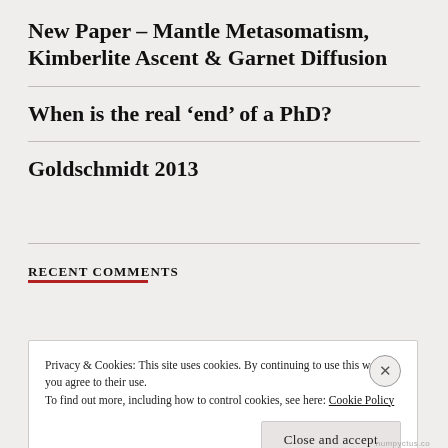New Paper – Mantle Metasomatism, Kimberlite Ascent & Garnet Diffusion
When is the real ‘end’ of a PhD?
Goldschmidt 2013
RECENT COMMENTS
Privacy & Cookies: This site uses cookies. By continuing to use this website, you agree to their use.
To find out more, including how to control cookies, see here: Cookie Policy
Close and accept
numpyctus.co